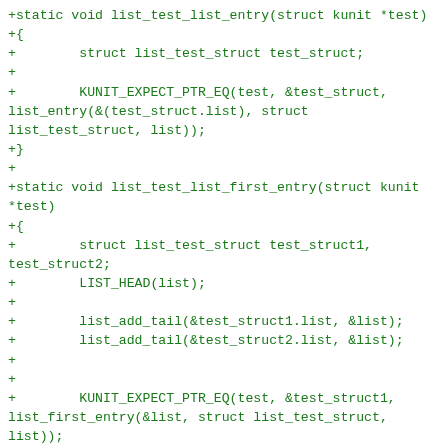+static void list_test_list_entry(struct kunit *test)
+{
+        struct list_test_struct test_struct;
+
+        KUNIT_EXPECT_PTR_EQ(test, &test_struct,
list_entry(&(test_struct.list), struct
list_test_struct, list));
+}
+
+static void list_test_list_first_entry(struct kunit
*test)
+{
+        struct list_test_struct test_struct1,
test_struct2;
+        LIST_HEAD(list);
+
+        list_add_tail(&test_struct1.list, &list);
+        list_add_tail(&test_struct2.list, &list);
+
+
+        KUNIT_EXPECT_PTR_EQ(test, &test_struct1,
list_first_entry(&list, struct list_test_struct,
list));
+}
+
+static void list_test_list_last_entry(struct kunit
*test)
+{
+        struct list_test_struct test_struct1,
test_struct2;